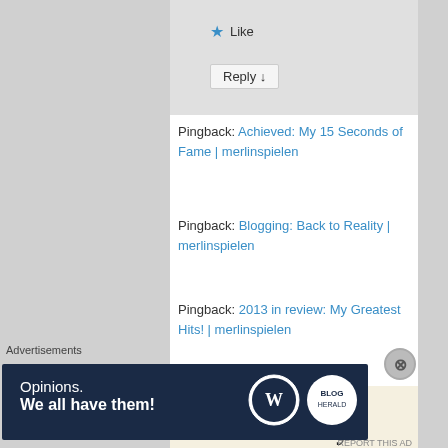★ Like
Reply ↓
Pingback: Achieved: My 15 Seconds of Fame | merlinspielen
Pingback: Blogging: Back to Reality | merlinspielen
Pingback: 2013 in review: My Greatest Hits! | merlinspielen
Advertisements
[Figure (screenshot): Advertisement banner showing text 'Professionally' on beige background]
Advertisements
[Figure (screenshot): WordPress advertisement banner: 'Opinions. We all have them!' with WordPress and Blog logos on dark navy background]